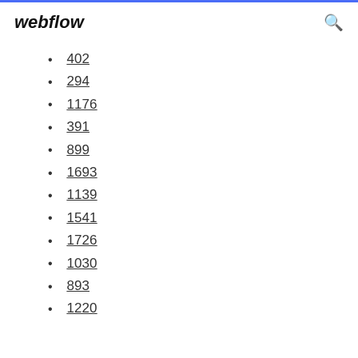webflow
402
294
1176
391
899
1693
1139
1541
1726
1030
893
1220